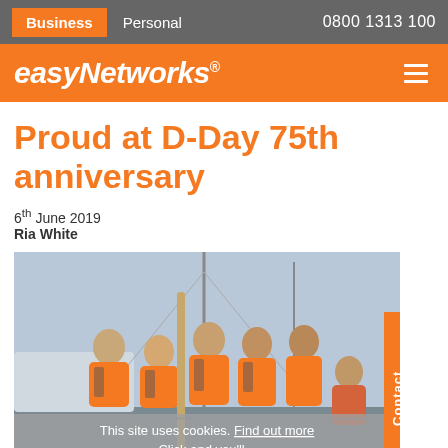Business | Personal | 0800 1313 100
easyNetworks®
Proud at D-Day 75th anniversary
6th June 2019
Ria White
[Figure (photo): Group of people in orange polo shirts and life jackets posing on a sailboat at a marina. Seven individuals visible, smiling at camera.]
This site uses cookies. Find out more